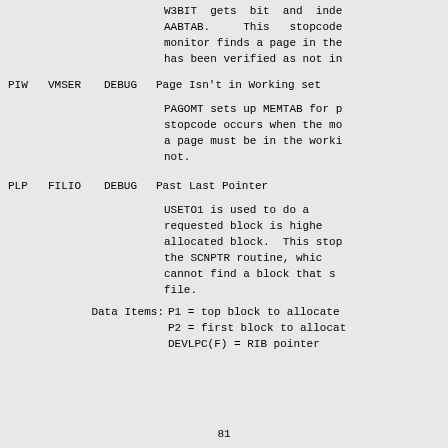W3BIT gets bit and inde AABTAB. This stopcode monitor finds a page in the has been verified as not in
PIW   VMSER   DEBUG   Page Isn't in Working set

PAGOMT sets up MEMTAB for p stopcode occurs when the mo a page must be in the worki not.
PLP   FILIO   DEBUG   Past Last Pointer

USETO1 is used to do a requested block is highe allocated block. This stop the SCNPTR routine, whic cannot find a block that s file.

Data Items: P1 = top block to allocate P2 = first block to allocat DEVLPC(F) = RIB pointer
81